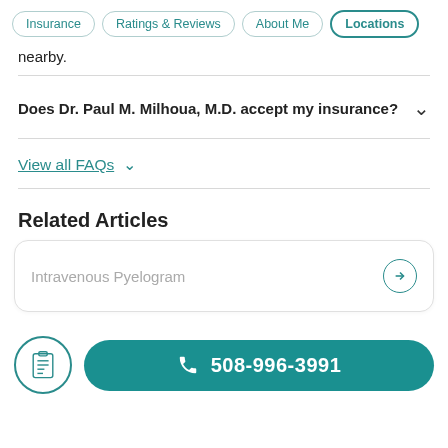Insurance | Ratings & Reviews | About Me | Locations
nearby.
Does Dr. Paul M. Milhoua, M.D. accept my insurance?
View all FAQs
Related Articles
Intravenous Pyelogram
508-996-3991